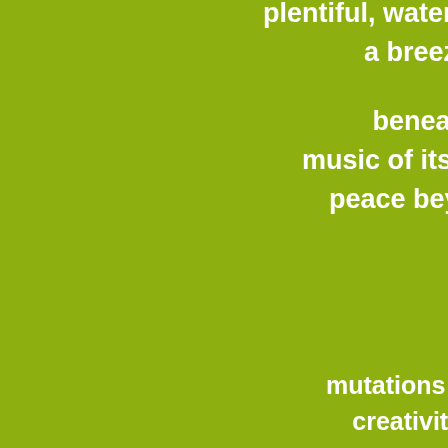plentiful, water a
a breeze
beneath
music of its o
peace beyo
b
mutations ar
creativity i
a new person is
to the u
no diffe
even to the e
in som
rebirth is gr
mutations flourish or